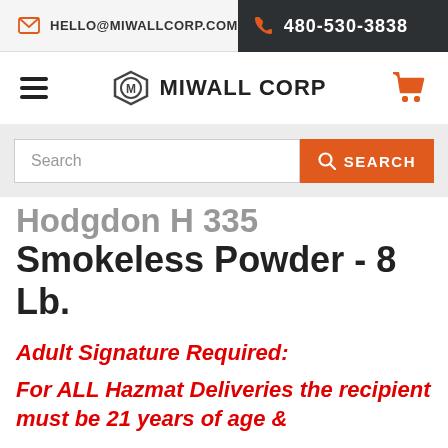HELLO@MIWALLCORP.COM | 480-530-3838
[Figure (logo): Miwall Corp logo with shield icon and text MIWALL CORP]
Search
Hodgdon H 335 Smokeless Powder - 8 Lb.
Adult Signature Required:
For ALL Hazmat Deliveries the recipient must be 21 years of age &